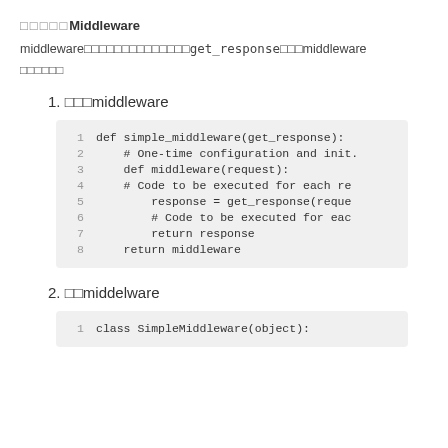□□□□□Middleware
middleware□□□□□□□□□□□□□□get_response□□□middleware
□□□□□□
1. □□□middleware
[Figure (screenshot): Code block showing simple_middleware function definition with line numbers 1-8]
2. □□middelware
[Figure (screenshot): Code block showing class SimpleMiddleware(object): with line number 1]